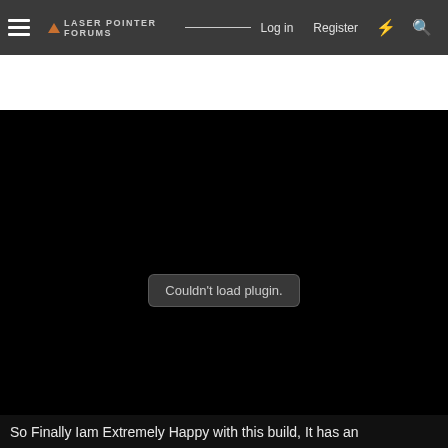Laser Pointer Forums — Log in | Register
[Figure (screenshot): Black video embed area with 'Couldn't load plugin.' error message in a rounded rectangle overlay in the center]
So Finally Iam Extremely Happy with this build, It has an